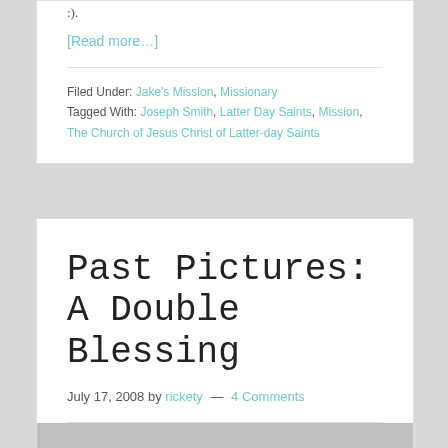:).
[Read more...]
Filed Under: Jake's Mission, Missionary
Tagged With: Joseph Smith, Latter Day Saints, Mission, The Church of Jesus Christ of Latter-day Saints
Past Pictures: A Double Blessing
July 17, 2008 by rickety — 4 Comments
[Figure (photo): Partial photo visible at bottom of page]